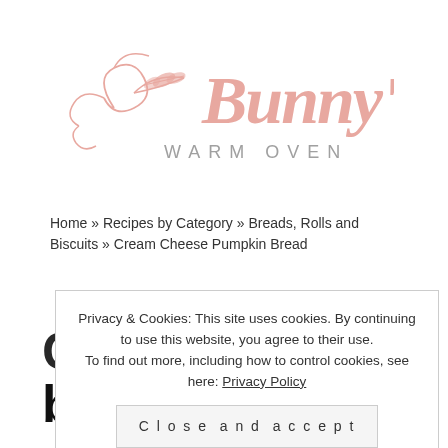[Figure (logo): Bunny's Warm Oven logo in pink script with decorative swirls and leaf motif]
Home » Recipes by Category » Breads, Rolls and Biscuits » Cream Cheese Pumpkin Bread
Privacy & Cookies: This site uses cookies. By continuing to use this website, you agree to their use. To find out more, including how to control cookies, see here: Privacy Policy
Close and accept
bread